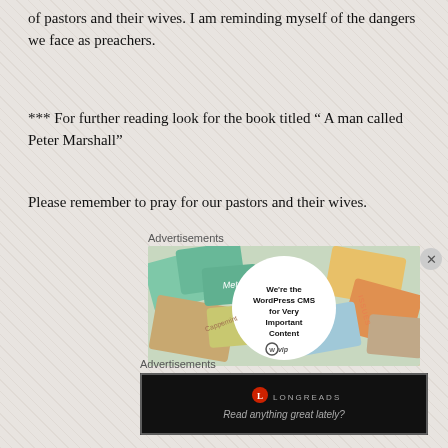of pastors and their wives. I am reminding myself of the dangers we face as preachers.
*** For further reading look for the book titled “ A man called Peter Marshall”
Please remember to pray for our pastors and their wives.
Advertisements
[Figure (other): WordPress VIP advertisement showing colorful tiled brand cards around a white circle with text: We’re the WordPress CMS for Very Important Content, WP VIP logo]
Advertisements
[Figure (other): Longreads advertisement on black background with red circle logo and text: Read anything great lately?]